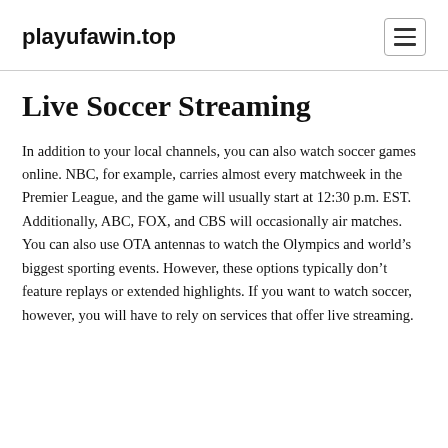playufawin.top
Live Soccer Streaming
In addition to your local channels, you can also watch soccer games online. NBC, for example, carries almost every matchweek in the Premier League, and the game will usually start at 12:30 p.m. EST. Additionally, ABC, FOX, and CBS will occasionally air matches. You can also use OTA antennas to watch the Olympics and world’s biggest sporting events. However, these options typically don’t feature replays or extended highlights. If you want to watch soccer, however, you will have to rely on services that offer live streaming.